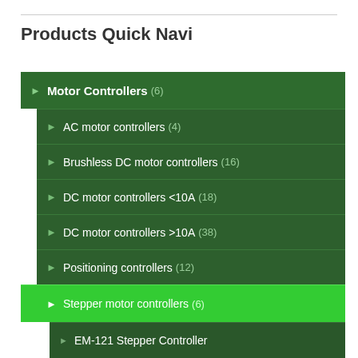Products Quick Navi
Motor Controllers (6)
AC motor controllers (4)
Brushless DC motor controllers (16)
DC motor controllers <10A (18)
DC motor controllers >10A (38)
Positioning controllers (12)
Stepper motor controllers (6)
EM-121 Stepper Controller
EM-136 Stepper Controller
EM-186-72 Stepper Controller
EM-314A Stepper Controller